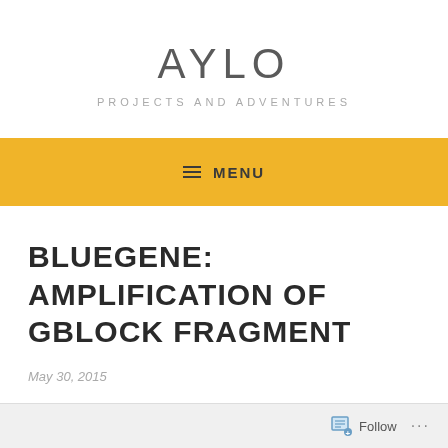AYLO
PROJECTS AND ADVENTURES
≡ MENU
BLUEGENE: AMPLIFICATION OF GBLOCK FRAGMENT
May 30, 2015
Follow ...